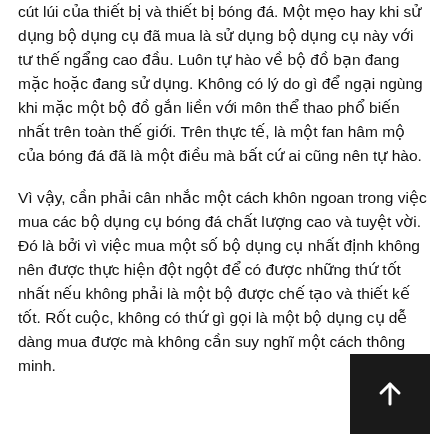cút lúi của thiết bị và thiết bị bóng đá. Một mẹo hay khi sử dụng bộ dụng cụ đã mua là sử dụng bộ dụng cụ này với tư thế ngẩng cao đầu. Luôn tự hào về bộ đồ bạn đang mặc hoặc đang sử dụng. Không có lý do gì để ngại ngùng khi mặc một bộ đồ gắn liền với môn thể thao phổ biến nhất trên toàn thế giới. Trên thực tế, là một fan hâm mộ của bóng đá đã là một điều mà bất cứ ai cũng nên tự hào.
Vì vậy, cần phải cân nhắc một cách khôn ngoan trong việc mua các bộ dụng cụ bóng đá chất lượng cao và tuyệt vời. Đó là bởi vì việc mua một số bộ dụng cụ nhất định không nên được thực hiện đột ngột để có được những thứ tốt nhất nếu không phải là một bộ được chế tạo và thiết kế tốt. Rốt cuộc, không có thứ gì gọi là một bộ dụng cụ dễ dàng mua được mà không cần suy nghĩ một cách thông minh.